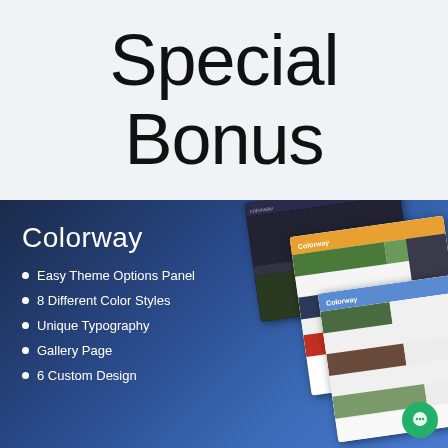Special Bonus
[Figure (screenshot): Colorway WordPress theme promotional banner with dark blue gradient background showing theme features and mockup screenshots of the theme in use. Features listed: Easy Theme Options Panel, 8 Different Color Styles, Unique Typography, Gallery Page, 6 Custom Design. A green chat bubble icon appears in the bottom right.]